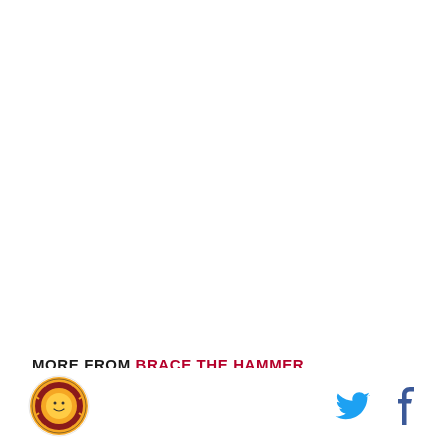MORE FROM BRACE THE HAMMER
[Figure (logo): Circular sports team logo with colorful emblem]
[Figure (logo): Twitter bird icon in blue]
[Figure (logo): Facebook 'f' icon in blue]